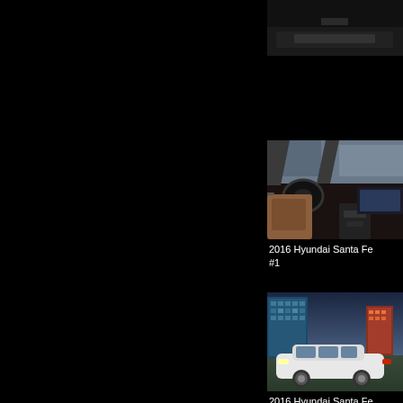[Figure (photo): Partial view of a dark-colored SUV front grille/hood area, cropped at top]
[Figure (photo): 2016 Hyundai Santa Fe interior showing brown leather seats, steering wheel, dashboard and center console]
2016 Hyundai Santa Fe #1
[Figure (photo): 2016 Hyundai Santa Fe exterior, white SUV parked in front of blue glass building at dusk]
2016 Hyundai Santa Fe #1